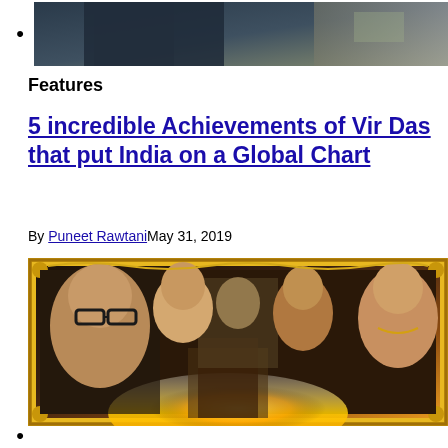[Figure (photo): Partial image of a person in dark jacket at the top of the page, shown as a list item]
Features
5 incredible Achievements of Vir Das that put India on a Global Chart
By Puneet RawtaniMay 31, 2019
[Figure (photo): Movie promotional image showing four actors looking serious, framed in an ornate golden frame with dramatic lighting and fire effects in the background]